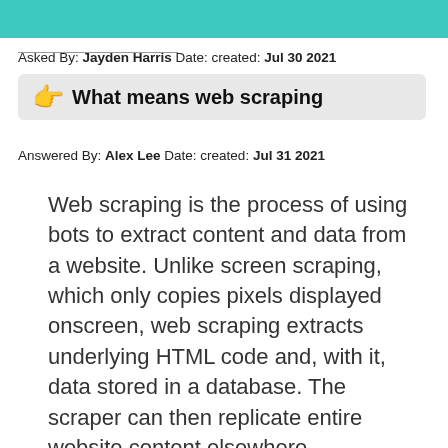[Figure (other): Teal/turquoise header banner bar at top of page]
Asked By: Jayden Harris Date: created: Jul 30 2021
👉 What means web scraping
Answered By: Alex Lee Date: created: Jul 31 2021
Web scraping is the process of using bots to extract content and data from a website. Unlike screen scraping, which only copies pixels displayed onscreen, web scraping extracts underlying HTML code and, with it, data stored in a database. The scraper can then replicate entire website content elsewhere.